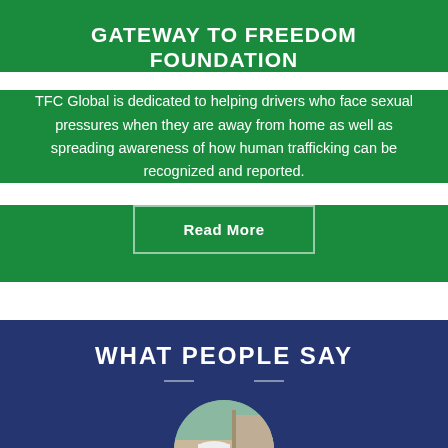GATEWAY TO FREEDOM FOUNDATION
TFC Global is dedicated to helping drivers who face sexual pressures when they are away from home as well as spreading awareness of how human trafficking can be recognized and reported.
Read More
WHAT PEOPLE SAY
[Figure (photo): Circular cropped photo of a person wearing a red shirt and white cap, partially visible]